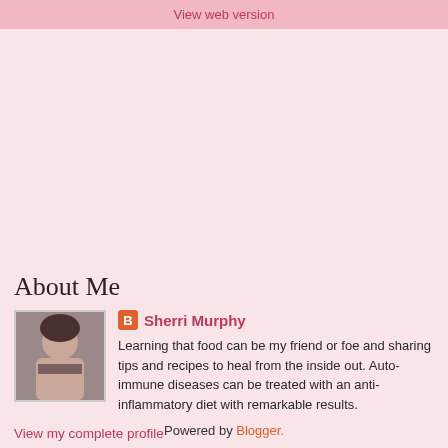View web version
About Me
[Figure (photo): Profile photo of Sherri Murphy, a woman with dark hair]
Sherri Murphy
Learning that food can be my friend or foe and sharing tips and recipes to heal from the inside out. Auto-immune diseases can be treated with an anti-inflammatory diet with remarkable results.
View my complete profile
Powered by Blogger.